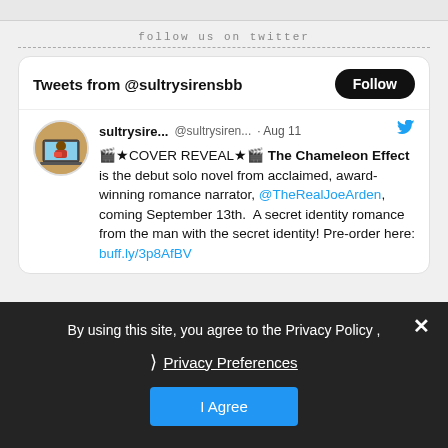follow us on twitter
[Figure (screenshot): Twitter/X widget showing tweets from @sultrysirensbb with a Follow button. A tweet from sultrysire... @sultrysiren... · Aug 11 reads: 🎬★COVER REVEAL★🎬 The Chameleon Effect is the debut solo novel from acclaimed, award-winning romance narrator, @TheRealJoeArden, coming September 13th. A secret identity romance from the man with the secret identity! Pre-order here: buff.ly/3p8AfBV]
By using this site, you agree to the Privacy Policy ,
❯  Privacy Preferences
I Agree